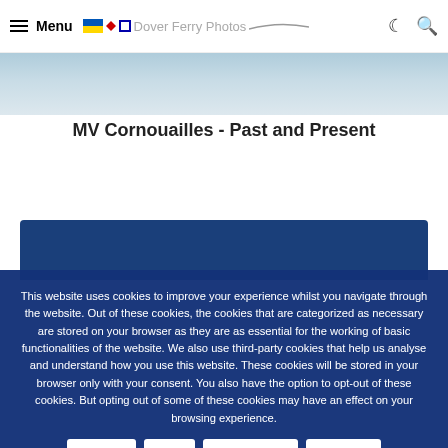Menu | Dover Ferry Photos
[Figure (photo): Ferry/ship photograph, partially visible at top of page behind navigation bar]
MV Cornouailles - Past and Present
This website uses cookies to improve your experience whilst you navigate through the website. Out of these cookies, the cookies that are categorized as necessary are stored on your browser as they are as essential for the working of basic functionalities of the website. We also use third-party cookies that help us analyse and understand how you use this website. These cookies will be stored in your browser only with your consent. You also have the option to opt-out of these cookies. But opting out of some of these cookies may have an effect on your browsing experience.
Accept All
Reject
Cookie settings
Read More